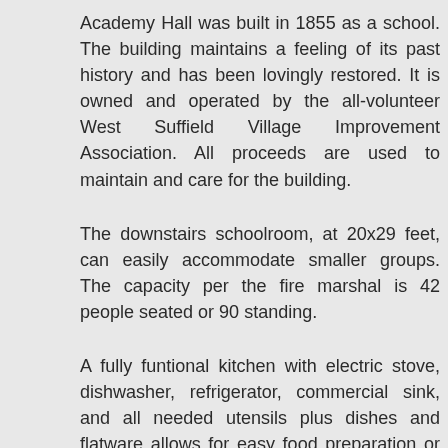Academy Hall was built in 1855 as a school. The building maintains a feeling of its past history and has been lovingly restored. It is owned and operated by the all-volunteer West Suffield Village Improvement Association. All proceeds are used to maintain and care for the building.
The downstairs schoolroom, at 20x29 feet, can easily accommodate smaller groups. The capacity per the fire marshal is 42 people seated or 90 standing.
A fully funtional kitchen with electric stove, dishwasher, refrigerator, commercial sink, and all needed utensils plus dishes and flatware allows for easy food preparation or catering for a wide range of events.
The wide entrance hall between the schoolroom and the kitchen can be entered from the front and rear of